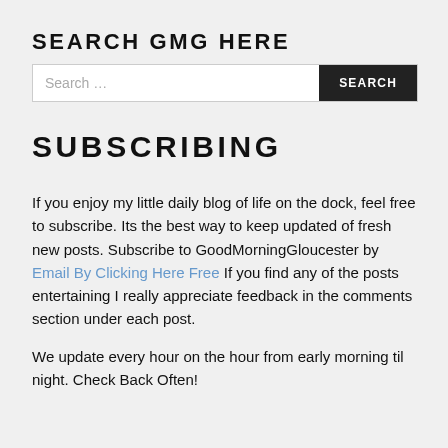SEARCH GMG HERE
Search …  SEARCH
SUBSCRIBING
If you enjoy my little daily blog of life on the dock, feel free to subscribe. Its the best way to keep updated of fresh new posts. Subscribe to GoodMorningGloucester by Email By Clicking Here Free If you find any of the posts entertaining I really appreciate feedback in the comments section under each post.
We update every hour on the hour from early morning til night. Check Back Often!